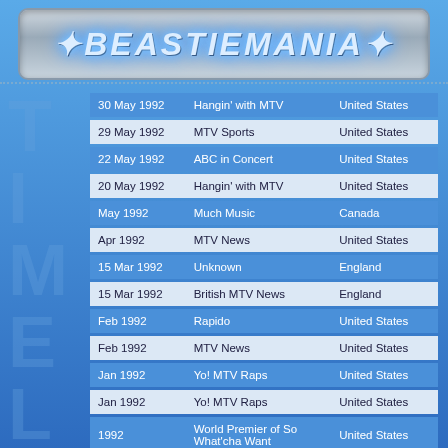[Figure (logo): BeastieMania logo in digital LCD-style text on a metallic rounded rectangle background]
| Date | Show | Country |
| --- | --- | --- |
| 30 May 1992 | Hangin' with MTV | United States |
| 29 May 1992 | MTV Sports | United States |
| 22 May 1992 | ABC in Concert | United States |
| 20 May 1992 | Hangin' with MTV | United States |
| May 1992 | Much Music | Canada |
| Apr 1992 | MTV News | United States |
| 15 Mar 1992 | Unknown | England |
| 15 Mar 1992 | British MTV News | England |
| Feb 1992 | Rapido | United States |
| Feb 1992 | MTV News | United States |
| Jan 1992 | Yo! MTV Raps | United States |
| Jan 1992 | Yo! MTV Raps | United States |
| 1992 | World Premier of So What'cha Want | United States |